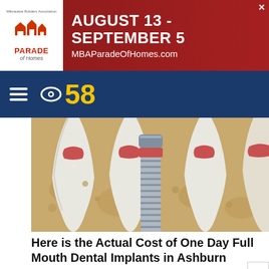[Figure (other): Top banner advertisement: Parade of Homes logo on white left panel, red background with text 'AUGUST 13 - SEPTEMBER 5' and 'MBAParadeOfHomes.com']
CBS 58 navigation bar with hamburger menu and CBS 58 logo
[Figure (illustration): Medical illustration of dental implants showing cross-section of jawbone with natural teeth roots and a metal screw implant in the center, surrounded by bone tissue]
Here is the Actual Cost of One Day Full Mouth Dental Implants in Ashburn
Dental Implants | Sponsored
[Figure (other): Bottom advertisement for Firestone Tire Rebate at Virginia Tire & Auto of Ashburn, with Firestone logo and blue arrow button]